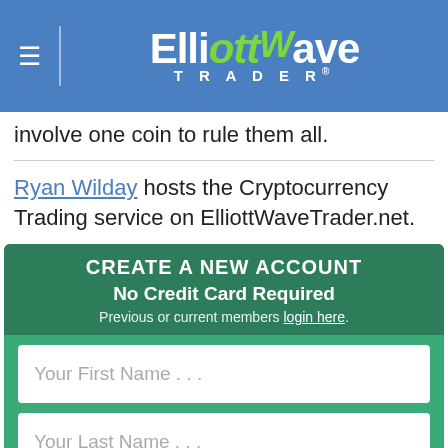ElliottWave TRADER
involve one coin to rule them all.
Ryan Wilday hosts the Cryptocurrency Trading service on ElliottWaveTrader.net.
CREATE A NEW ACCOUNT
No Credit Card Required
Previous or current members login here.
Your First Name . . .
Your Last Name . . .
Your Email Address . . .